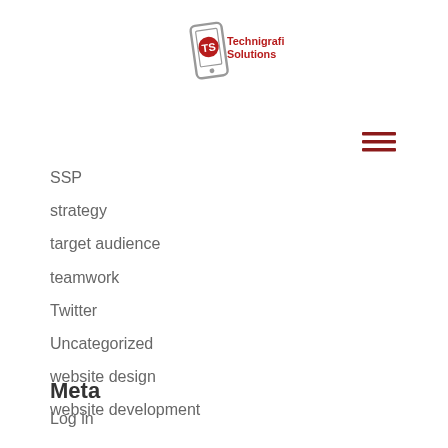[Figure (logo): Technigrafic Solutions logo with a smartphone icon and red text]
[Figure (other): Hamburger menu icon (three horizontal red lines)]
SSP
strategy
target audience
teamwork
Twitter
Uncategorized
website design
website development
Meta
Log in